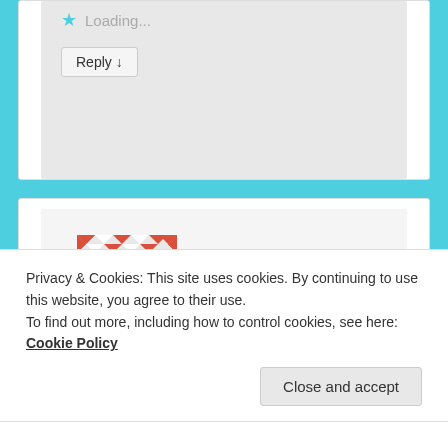Loading...
Reply ↓
[Figure (illustration): Red and white geometric pattern avatar for user Lynne]
Lynne on June 23, 2020 at 6:05 pm said:
I felt like I was there on that hot summer day, watching as the story unfolded. Your writing draws me in. The last photo brought tears to my eyes.
Privacy & Cookies: This site uses cookies. By continuing to use this website, you agree to their use.
To find out more, including how to control cookies, see here: Cookie Policy
Close and accept